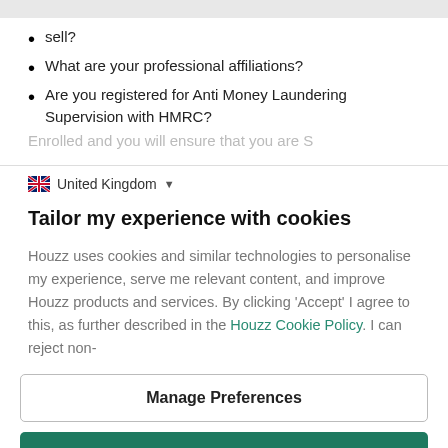sell?
What are your professional affiliations?
Are you registered for Anti Money Laundering Supervision with HMRC?
United Kingdom
Tailor my experience with cookies
Houzz uses cookies and similar technologies to personalise my experience, serve me relevant content, and improve Houzz products and services. By clicking 'Accept' I agree to this, as further described in the Houzz Cookie Policy. I can reject non-
Manage Preferences
Accept